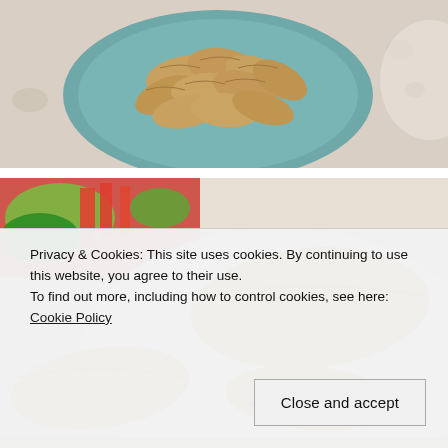[Figure (photo): Overhead view of baked empanadas or pierogi on a teal/blue plate on a tablecloth]
[Figure (photo): Close-up of baked empanadas on a white plate with salad in background; one empanada is broken open showing filling]
Privacy & Cookies: This site uses cookies. By continuing to use this website, you agree to their use.
To find out more, including how to control cookies, see here: Cookie Policy
Close and accept